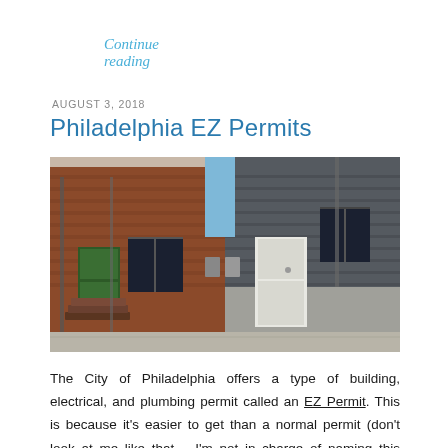Continue reading
AUGUST 3, 2018
Philadelphia EZ Permits
[Figure (photo): Photograph of Philadelphia rowhouses showing two adjacent brick buildings with a white door entrance on the right side and a dark green door on the left, with steps leading up.]
The City of Philadelphia offers a type of building, electrical, and plumbing permit called an EZ Permit. This is because it's easier to get than a normal permit (don't look at me like that – I'm not in charge of naming this stuff). Philadelphia EZ Permits are the source of a